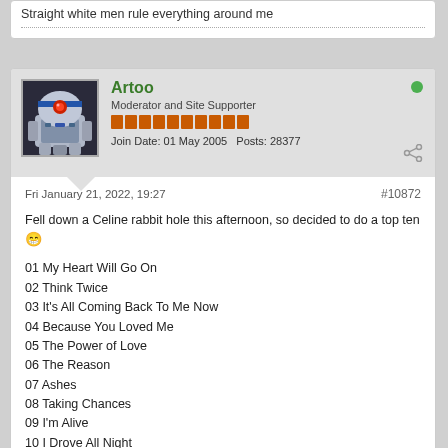Straight white men rule everything around me
Artoo · Moderator and Site Supporter · Join Date: 01 May 2005 · Posts: 28377
Fri January 21, 2022, 19:27
#10872
Fell down a Celine rabbit hole this afternoon, so decided to do a top ten 😁
01 My Heart Will Go On
02 Think Twice
03 It's All Coming Back To Me Now
04 Because You Loved Me
05 The Power of Love
06 The Reason
07 Ashes
08 Taking Chances
09 I'm Alive
10 I Drove All Night
Straight white men rule everything around me